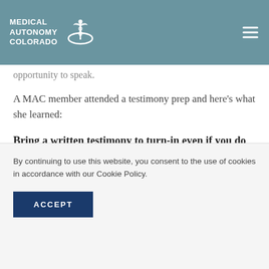MEDICAL AUTONOMY COLORADO
opportunity to speak.
A MAC member attended a testimony prep and here's what she learned:
Bring a written testimony to turn-in even if you do not testify. If someone cannot come to
another
ppen
ad them
By continuing to use this website, you consent to the use of cookies in accordance with our Cookie Policy.
ACCEPT
ors they
rmation